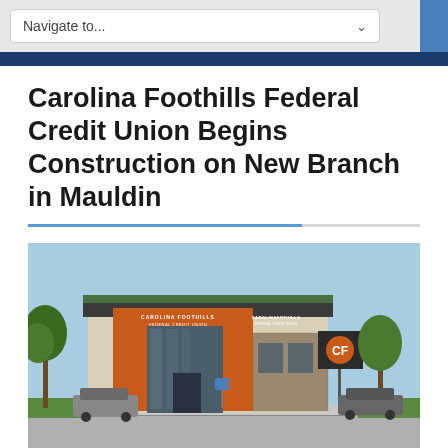Navigate to...
Carolina Foothills Federal Credit Union Begins Construction on New Branch in Mauldin
[Figure (illustration): Architectural rendering of the Carolina Foothills Federal Credit Union new branch building in Mauldin. The building features an orange facade with large glass windows and the credit union's name displayed on the exterior. A sign post with the CF logo is visible to the right. Trees and parked cars are visible around the building.]